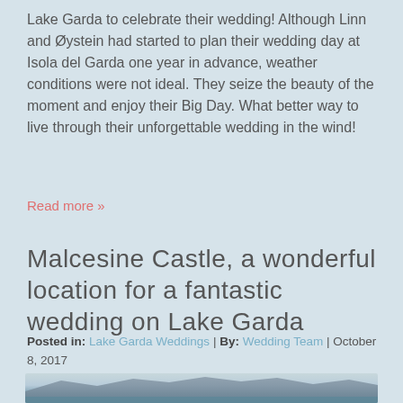Lake Garda to celebrate their wedding! Although Linn and Øystein had started to plan their wedding day at Isola del Garda one year in advance, weather conditions were not ideal. They seize the beauty of the moment and enjoy their Big Day. What better way to live through their unforgettable wedding in the wind!
Read more »
Malcesine Castle, a wonderful location for a fantastic wedding on Lake Garda
Posted in: Lake Garda Weddings | By: Wedding Team | October 8, 2017
[Figure (photo): Landscape photo of Lake Garda with mountains in the background, blue-tinted panoramic view of the lake and mountain range]